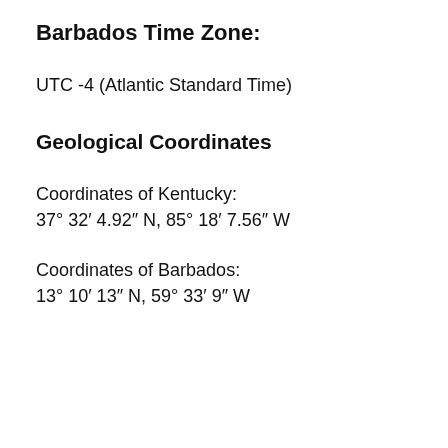Barbados Time Zone:
UTC -4 (Atlantic Standard Time)
Geological Coordinates
Coordinates of Kentucky:
37° 32′ 4.92″ N, 85° 18′ 7.56″ W
Coordinates of Barbados:
13° 10′ 13″ N, 59° 33′ 9″ W